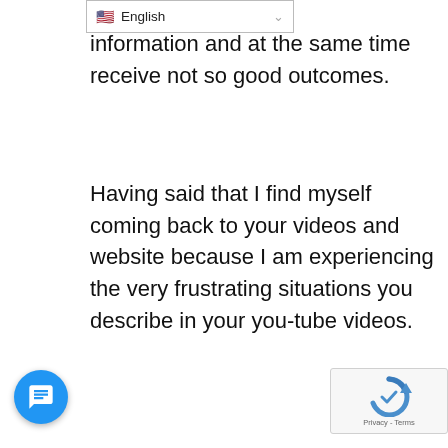English
information and at the same time receive not so good outcomes.
Having said that I find myself coming back to your videos and website because I am experiencing the very frustrating situations you describe in your you-tube videos.
However, I am fearful of spending money on or to anyone before I explain my injury.
I do not suffer from pain, no TKA and no knee replacement. Therefore I’m not sure you would work with me.
I had a lateral tibia fracture and fibia fracture